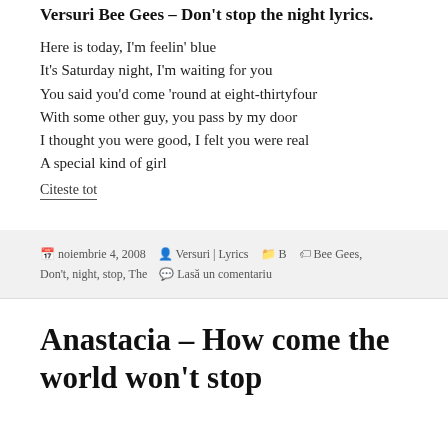Versuri Bee Gees – Don't stop the night lyrics.
Here is today, I'm feelin' blue
It's Saturday night, I'm waiting for you
You said you'd come 'round at eight-thirtyfour
With some other guy, you pass by my door
I thought you were good, I felt you were real
A special kind of girl
Citeste tot
noiembrie 4, 2008  Versuri | Lyrics  B  Bee Gees, Don't, night, stop, The  Lasă un comentariu
Anastacia – How come the world won't stop